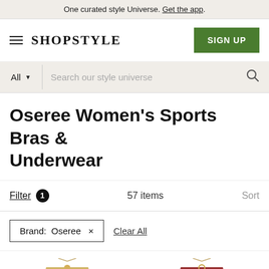One curated style Universe. Get the app.
[Figure (screenshot): ShopStyle navigation header with hamburger menu, SHOPSTYLE logo, and SIGN UP button]
[Figure (screenshot): Search bar with All dropdown and 'Search our style universe' placeholder]
Oseree Women's Sports Bras & Underwear
Filter 1  57 items  Sort
Brand: Oseree ×  Clear All
[Figure (photo): Two product thumbnail images of bikini tops - one olive/gold and one dark red/maroon]